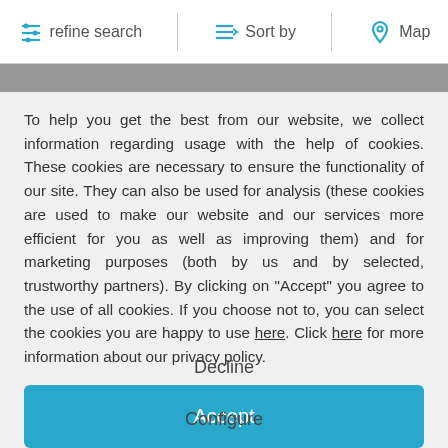refine search  Sort by  Map
To help you get the best from our website, we collect information regarding usage with the help of cookies. These cookies are necessary to ensure the functionality of our site. They can also be used for analysis (these cookies are used to make our website and our services more efficient for you as well as improving them) and for marketing purposes (both by us and by selected, trustworthy partners). By clicking on "Accept" you agree to the use of all cookies. If you choose not to, you can select the cookies you are happy to use here. Click here for more information about our privacy policy.
Accept
Decline
Configure